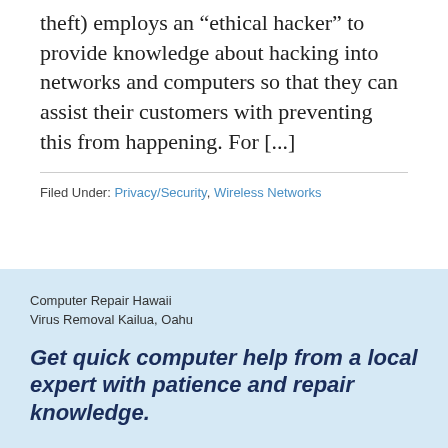theft) employs an “ethical hacker” to provide knowledge about hacking into networks and computers so that they can assist their customers with preventing this from happening. For [...]
Filed Under: Privacy/Security, Wireless Networks
Computer Repair Hawaii
Virus Removal Kailua, Oahu
Get quick computer help from a local expert with patience and repair knowledge.